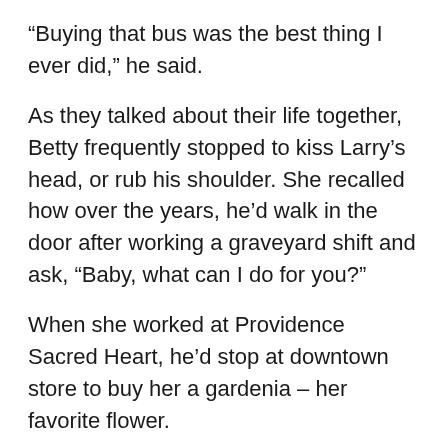“Buying that bus was the best thing I ever did,” he said.
As they talked about their life together, Betty frequently stopped to kiss Larry’s head, or rub his shoulder. She recalled how over the years, he’d walk in the door after working a graveyard shift and ask, “Baby, what can I do for you?”
When she worked at Providence Sacred Heart, he’d stop at downtown store to buy her a gardenia – her favorite flower.
And he kept busy, even after retiring from the school district. For 15 years he worked at the Coeur d’Alene Casino as a ticket seller, finally retiring at 83.
He smiled at Betty.